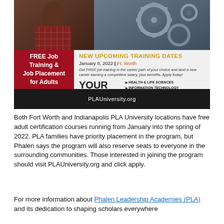[Figure (infographic): PLA University advertisement showing a person in red plaid shirt with machinery in background. Features 'NEW UPCOMING TRAINING DATES' in yellow, date January 8, 2022 | Ft. Worth, description of free job training, 'YOUR DREAMS MATTER' heading with career path list (Health & Life Sciences, Information Technology, Advanced Manufacturing, Supply Chain Logistics, Entrepreneurship), red left panel with 'FREE Job Training & Job Placement for Adults', and black footer bar with PLAUniversity.org]
Both Fort Worth and Indianapolis PLA University locations have free adult certification courses running from January into the spring of 2022. PLA families have priority placement in the program, but Phalen says the program will also reserve seats to everyone in the surrounding communities. Those interested in joining the program should visit PLAUniversity.org and click apply.
For more information about Phalen Leadership Academies (PLA) and its dedication to shaping scholars everywhere